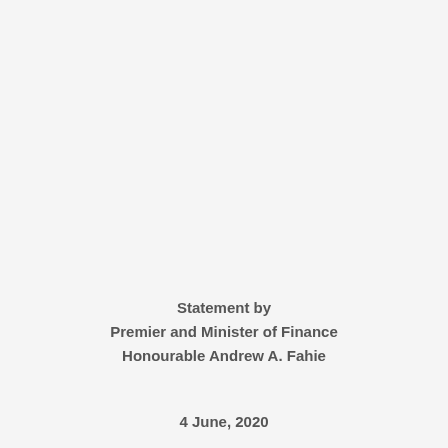Statement by
Premier and Minister of Finance
Honourable Andrew A. Fahie
4 June, 2020